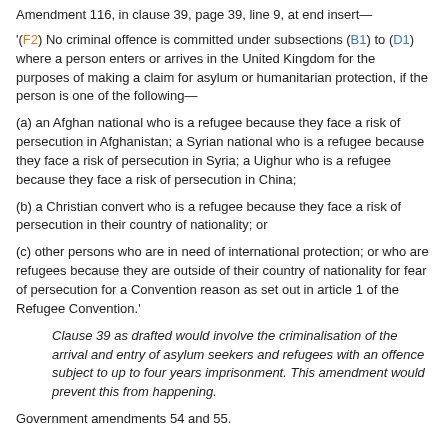Amendment 116, in clause 39, page 39, line 9, at end insert—
'(F2) No criminal offence is committed under subsections (B1) to (D1) where a person enters or arrives in the United Kingdom for the purposes of making a claim for asylum or humanitarian protection, if the person is one of the following—
(a) an Afghan national who is a refugee because they face a risk of persecution in Afghanistan; a Syrian national who is a refugee because they face a risk of persecution in Syria; a Uighur who is a refugee because they face a risk of persecution in China;
(b) a Christian convert who is a refugee because they face a risk of persecution in their country of nationality; or
(c) other persons who are in need of international protection; or who are refugees because they are outside of their country of nationality for fear of persecution for a Convention reason as set out in article 1 of the Refugee Convention.'
Clause 39 as drafted would involve the criminalisation of the arrival and entry of asylum seekers and refugees with an offence subject to up to four years imprisonment. This amendment would prevent this from happening.
Government amendments 54 and 55.